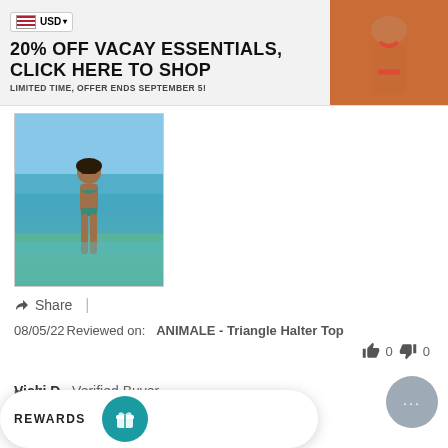[Figure (infographic): Promotional banner: USD currency selector, text '20% OFF VACAY ESSENTIALS, CLICK HERE TO SHOP LIMITED TIME, OFFER ENDS SEPTEMBER 5!' with a photo of a woman in a red bikini on the right]
[Figure (photo): Photo of a woman in a bikini standing in shallow turquoise water at the beach]
Share  |
08/05/22 Reviewed on:  ANIMALE - Triangle Halter Top
👍 0  👎 0
Vicki D.  Verified Buyer
[Figure (infographic): 5 teal stars (4 filled, 1 half) rating display]
me Curves
rage
REWARDS
[Figure (infographic): Teal circular rewards icon with gift/reward symbol]
[Figure (infographic): Gray circular chat bubble button with ellipsis]